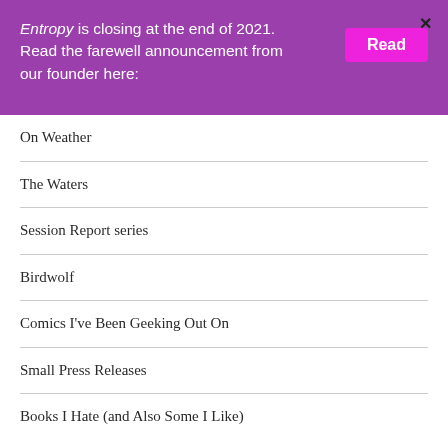Entropy is closing at the end of 2021. Read the farewell announcement from our founder here:
On Weather
The Waters
Session Report series
Birdwolf
Comics I've Been Geeking Out On
Small Press Releases
Books I Hate (and Also Some I Like)